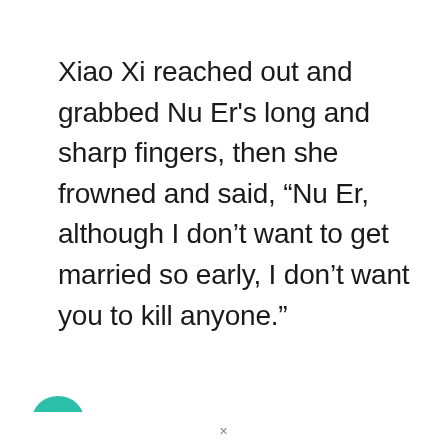Xiao Xi reached out and grabbed Nu Er's long and sharp fingers, then she frowned and said, “Nu Er, although I don’t want to get married so early, I don’t want you to kill anyone.”